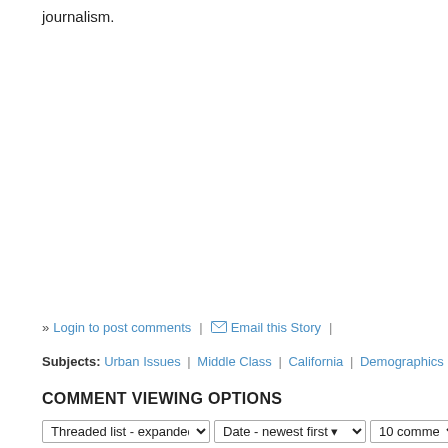journalism.
» Login to post comments | ✉ Email this Story |
Subjects: Urban Issues | Middle Class | California | Demographics | Heartland |
COMMENT VIEWING OPTIONS
Threaded list - expanded ▾  |  Date - newest first ▾  |  10 comments pe...